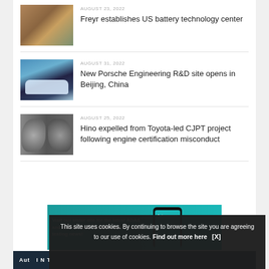[Figure (photo): Building exterior with wooden facade]
AUGUST 23, 2022
Freyr establishes US battery technology center
[Figure (photo): Car on road with city skyline in background, Beijing]
AUGUST 31, 2022
New Porsche Engineering R&D site opens in Beijing, China
[Figure (photo): Engine/turbocharger components close-up]
AUGUST 25, 2022
Hino expelled from Toyota-led CJPT project following engine certification misconduct
[Figure (infographic): Advertisement banner: Visit our sister site for the latest ADAS and autonomous vehicle simulation and testing news!]
This site uses cookies. By continuing to browse the site you are agreeing to our use of cookies. Find out more here   [X]